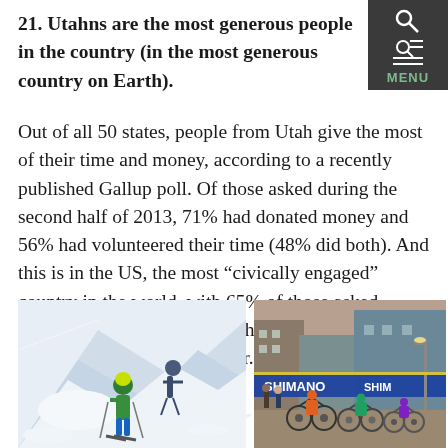21. Utahns are the most generous people in the country (in the most generous country on Earth).
Out of all 50 states, people from Utah give the most of their time and money, according to a recently published Gallup poll. Of those asked during the second half of 2013, 71% had donated money and 56% had volunteered their time (48% did both). And this is in the US, the most “civically engaged” country in the world, with 65% of those asked having donated money, 43% having volunteered, and 73% having helped a stranger.
[Figure (photo): Two skiers on a snowy mountain slope, one wearing a green jacket and blue pants, another in dark clothing behind them]
[Figure (photo): Cycling race event in an urban setting with Shimano banners, cyclists and spectators visible]